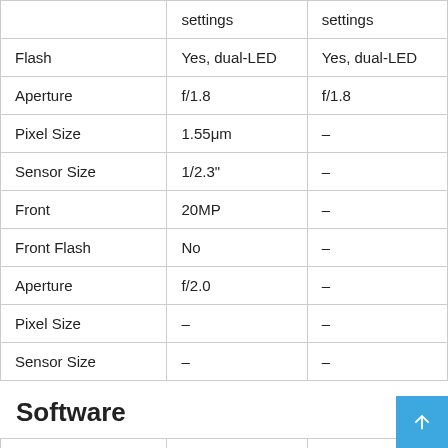|  | settings | settings |
| --- | --- | --- |
| Flash | Yes, dual-LED | Yes, dual-LED |
| Aperture | f/1.8 | f/1.8 |
| Pixel Size | 1.55μm | – |
| Sensor Size | 1/2.3" | – |
| Front | 20MP | – |
| Front Flash | No | – |
| Aperture | f/2.0 | – |
| Pixel Size | – | – |
| Sensor Size | – | – |
Software
|  |  |  |
| --- | --- | --- |
| Operating System | Android 9 Pie | Android 9 Pie |
| User Interface |  |  |